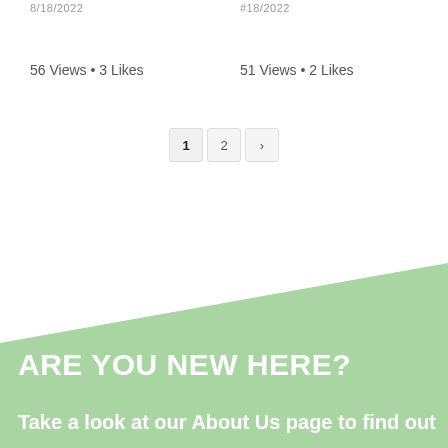8/18/2022
#18/2022
56 Views • 3 Likes
51 Views • 2 Likes
1  2  >
ARE YOU NEW HERE?
Take a look at our About Us page to find out